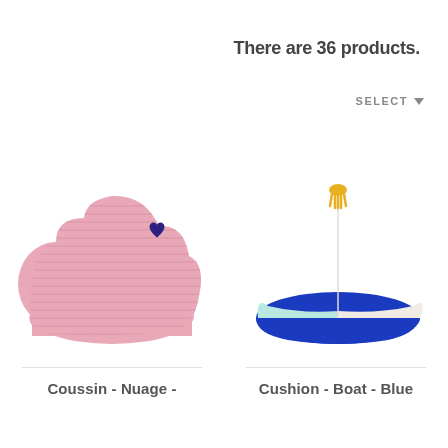There are 36 products.
SELECT
[Figure (photo): Pink knitted cloud-shaped cushion with a small dark blue heart embroidered on the side.]
Coussin - Nuage -
[Figure (photo): Blue boat-shaped cushion with light blue and cream fabric panels and a yellow tassel on top.]
Cushion - Boat - Blue